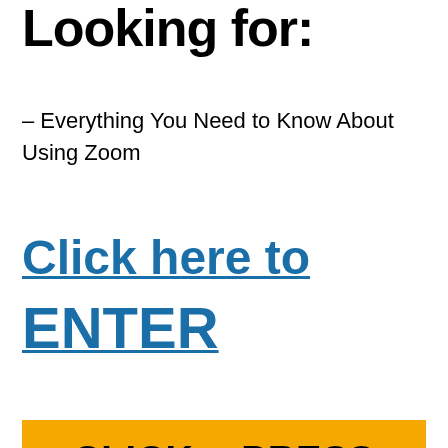Looking for:
– Everything You Need to Know About Using Zoom
Click here to ENTER
[Figure (other): Orange button with text CLICK n PRESS]